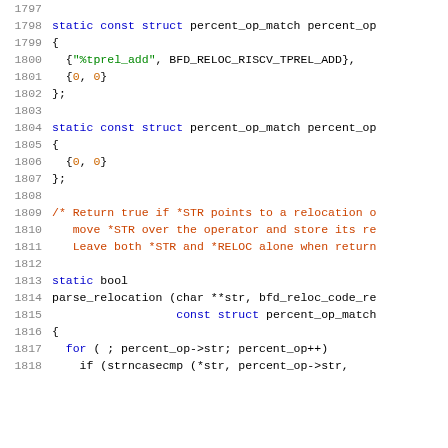Source code listing, lines 1797-1818, C code with syntax highlighting